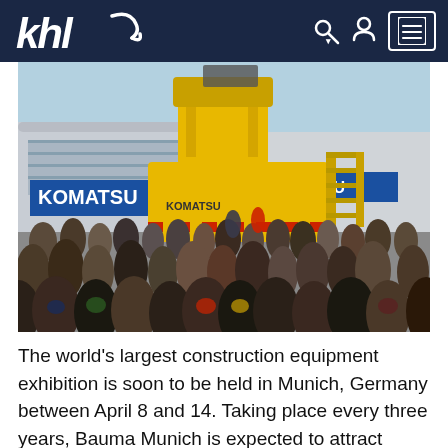khl
[Figure (photo): Large yellow Komatsu excavator/shovel on display at an outdoor exhibition with a large crowd of visitors gathered around it. A Komatsu branded building/hall is visible in the background.]
The world's largest construction equipment exhibition is soon to be held in Munich, Germany between April 8 and 14. Taking place every three years, Bauma Munich is expected to attract around 3400 exhibitors and more than half a million visitors. The show covered more than